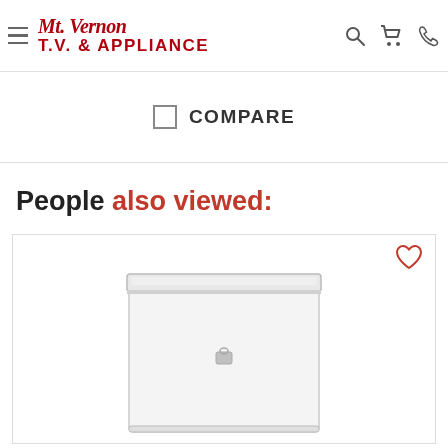Mt. Vernon T.V. & Appliance
[Figure (screenshot): Compare checkbox with label 'COMPARE']
People also viewed:
[Figure (photo): White chest freezer with lock, shown in a product card with a heart/wishlist icon]